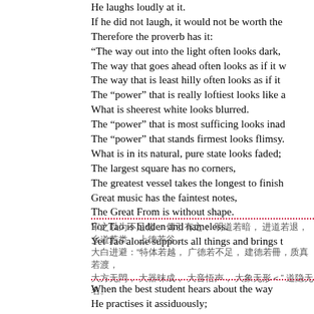He laughs loudly at it.
If he did not laugh, it would not be worth the
Therefore the proverb has it:
“The way out into the light often looks dark,
The way that goes ahead often looks as if it w
The way that is least hilly often looks as if it
The “power” that is really loftiest looks like a
What is sheerest white looks blurred.
The “power” that is most sufficing looks inad
The “power” that stands firmest looks flimsy.
What is in its natural, pure state looks faded;
The largest square has no corners,
The greatest vessel takes the longest to finish
Great music has the faintest notes,
The Great From is without shape.
For Tao is hidden and nameless.
Yet Tao alone supports all things and brings t
Chinese text block
When the best student hears about the way
He practises it assiduously;